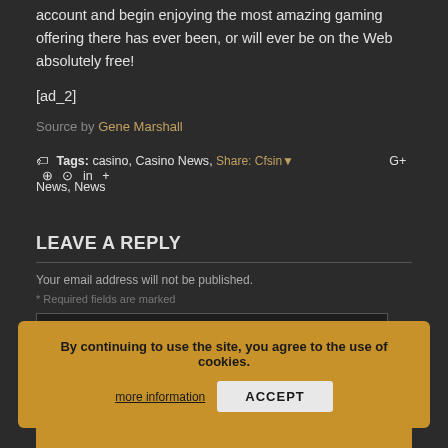account and begin enjoying the most amazing gaming offering there has ever been, or will ever be on the Web absolutely free!
[ad_2]
Source by Gene Marshall
Tags: casino, Casino News, Street Casino News, News
LEAVE A REPLY
Your email address will not be published.
By continuing to use the site, you agree to the use of cookies.